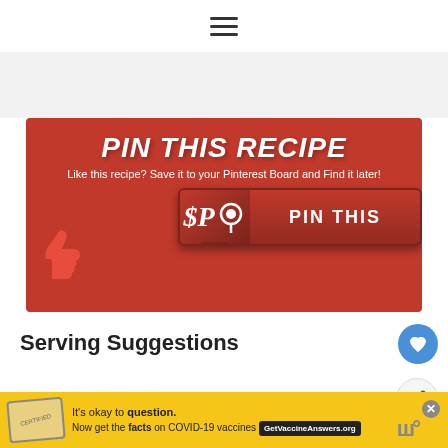☰
[Figure (illustration): Pinterest 'PIN THIS RECIPE' red banner with thumbs up icon and a PIN THIS button featuring the Pinterest P logo]
Serving Suggestions
Lemon Garlic Roast Chicken
[Figure (illustration): What's Next box showing Easy Ravioli Sauce with a food thumbnail]
[Figure (illustration): Ad banner: It's okay to question. Now get the facts on COVID-19 vaccines. GetVaccineAnswers.org]